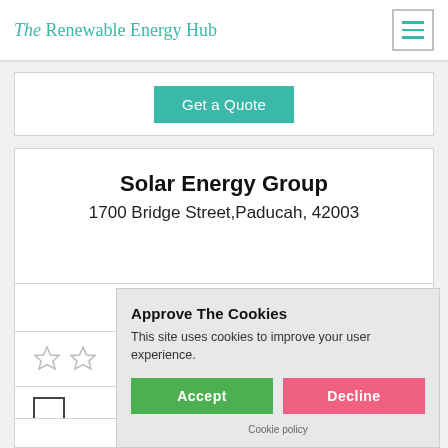The Renewable Energy Hub
Get a Quote
Solar Energy Group
1700 Bridge Street,Paducah, 42003
135.77
[Figure (other): Two empty star rating icons]
[Figure (other): Checkbox input element]
Approve The Cookies
This site uses cookies to improve your user experience.
Accept  Decline
Cookie policy